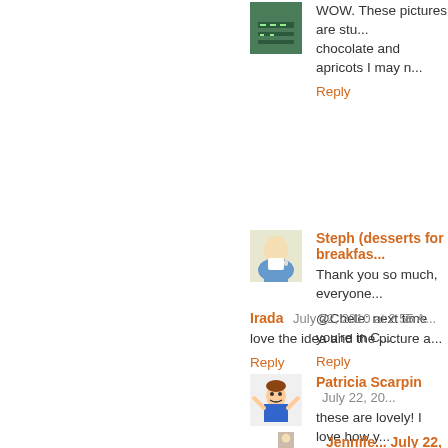[Figure (photo): Small avatar image with green/dark colors]
WOW. These pictures are stu... chocolate and apricots I may n...
Reply
[Figure (photo): Small avatar image of person holding a drink]
Steph (desserts for breakfas...
Thank you so much, everyone...
@Chele: next time you're in C...
Reply
Irada  July 22, 2010 at 2:55 A...
love the idea and the picture a...
Reply
[Figure (photo): Small cartoon avatar of a person]
Patricia Scarpin  July 22, 20...
these are lovely! I love how y...
Reply
[Figure (photo): Small avatar image at bottom]